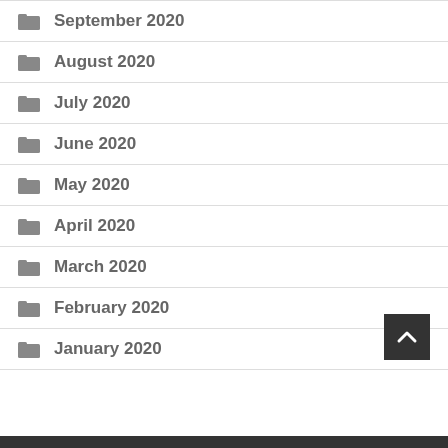September 2020
August 2020
July 2020
June 2020
May 2020
April 2020
March 2020
February 2020
January 2020